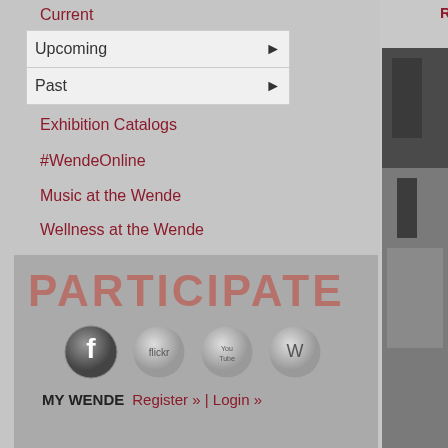Read the Exhibition Catalogue
Current
Upcoming ▶
Past ▶
Exhibition Catalogs
#WendeOnline
Music at the Wende
Wellness at the Wende
[Figure (screenshot): PARTICIPATE banner with social media icons (Facebook, Flickr, YouTube, WordPress) and MY WENDE Register/Login links]
[Figure (photo): Black and white photo on the right side of the page showing a dark urban scene]